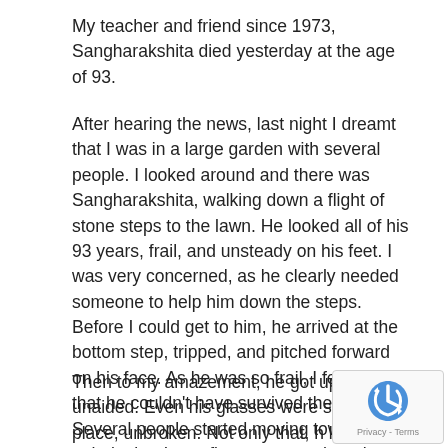My teacher and friend since 1973, Sangharakshita died yesterday at the age of 93.
After hearing the news, last night I dreamt that I was in a large garden with several people. I looked around and there was Sangharakshita, walking down a flight of stone steps to the lawn. He looked all of his 93 years, frail, and unsteady on his feet. I was very concerned, as he clearly needed someone to help him down the steps. Before I could get to him, he arrived at the bottom step, tripped, and pitched forward on his face. As he was so frail, I felt at once that he couldn't have survived the fall.. Several people started moving towards him to help, but I was first to get to where he was lying on his face, unmoving.
Then to my amazement, he got up, unaided. Even his glasses were still in place, unbroken. Not only that, h looked younger. The only negative effect from his fa...